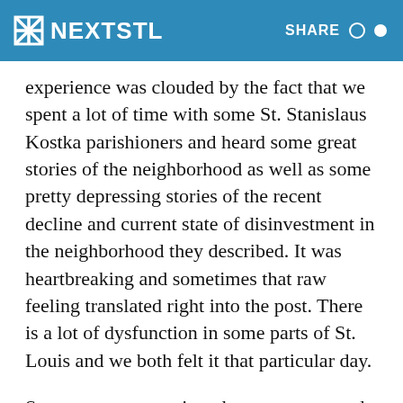NEXTSTL   SHARE
experience was clouded by the fact that we spent a lot of time with some St. Stanislaus Kostka parishioners and heard some great stories of the neighborhood as well as some pretty depressing stories of the recent decline and current state of disinvestment in the neighborhood they described. It was heartbreaking and sometimes that raw feeling translated right into the post. There is a lot of dysfunction in some parts of St. Louis and we both felt it that particular day.
So, we spent more time than ever expected at St. Stanislaus and didn’t have the time to correctly cover the rest of what is there. Back then we were rolling with little ones in the car and sometimes,